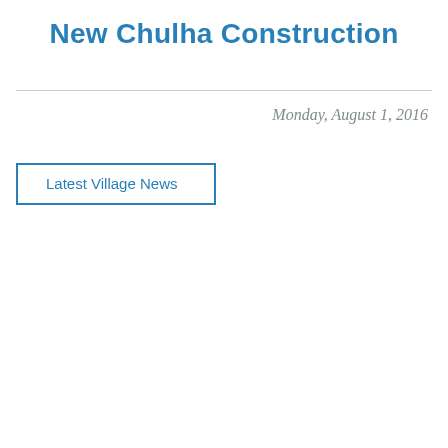New Chulha Construction
Monday, August 1, 2016
Latest Village News